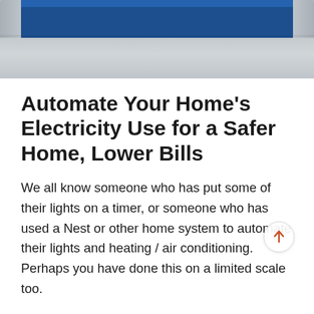[Figure (illustration): Top portion of a tablet or mobile device showing a dark blue screen area and silver/gray device bezel/frame, cropped at the top of the page.]
Automate Your Home’s Electricity Use for a Safer Home, Lower Bills
We all know someone who has put some of their lights on a timer, or someone who has used a Nest or other home system to automate their lights and heating / air conditioning. Perhaps you have done this on a limited scale too.
Maybe you bought a timer for a floor lamp and set it up to help your home look more lived in while you were away on vacation. Maybe the electric company installed a monitor on your AC to reduce usage as part